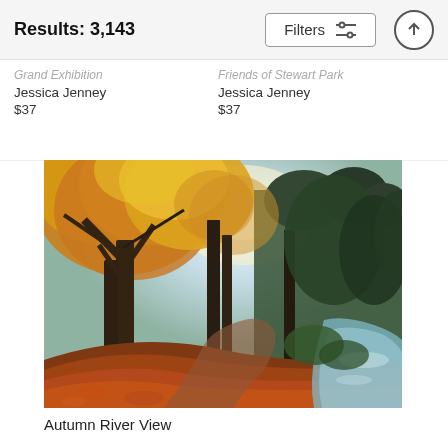Results: 3,143
Grand Exhibition
Jessica Jenney
$37
Friends of Stewart Park
Jessica Jenney
$37
[Figure (photo): Autumn scene with tall trees displaying golden/orange foliage on the left, dark tree trunks in the center, green conifer trees on the right, a winding path covered in fallen red/orange leaves, and a calm river or canal visible on the right side. Misty, atmospheric lighting.]
Autumn River View